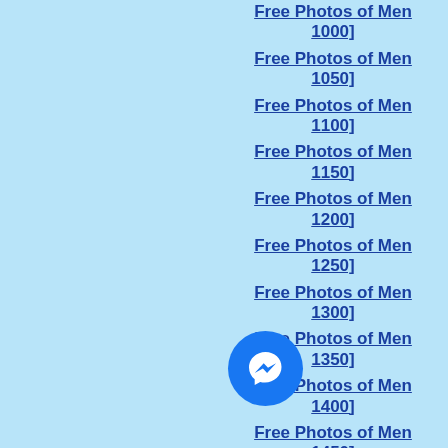Free Photos of Men 1000]
Free Photos of Men 1050]
Free Photos of Men 1100]
Free Photos of Men 1150]
Free Photos of Men 1200]
Free Photos of Men 1250]
Free Photos of Men 1300]
Free Photos of Men 1350]
Free Photos of Men 1400]
Free Photos of Men 1450]
Free Photos of Men 1500]
Free Photos of Men 1550]
[Figure (logo): Facebook Messenger chat button icon - blue circle with white lightning bolt messenger logo]